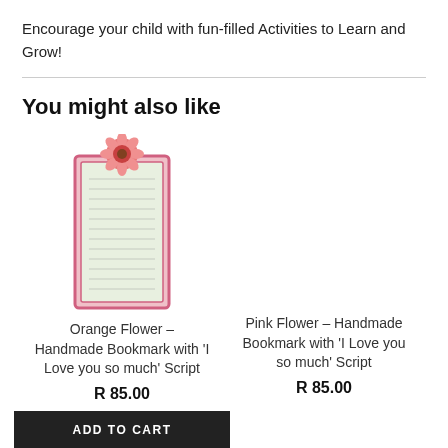Encourage your child with fun-filled Activities to Learn and Grow!
You might also like
[Figure (photo): Photo of a handmade bookmark with pink border and orange flower decoration at the top, with handwritten script text on green paper]
Orange Flower – Handmade Bookmark with 'I Love you so much' Script
R 85.00
ADD TO CART
Pink Flower – Handmade Bookmark with 'I Love you so much' Script
R 85.00